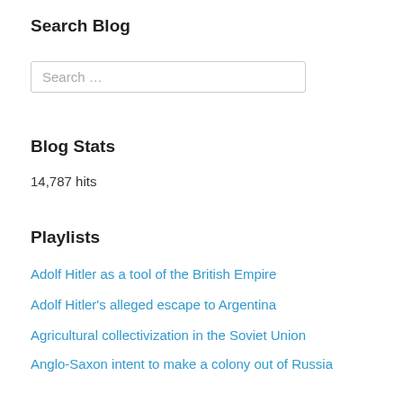Search Blog
Search ...
Blog Stats
14,787 hits
Playlists
Adolf Hitler as a tool of the British Empire
Adolf Hitler's alleged escape to Argentina
Agricultural collectivization in the Soviet Union
Anglo-Saxon intent to make a colony out of Russia
Best Movies of the 1930s